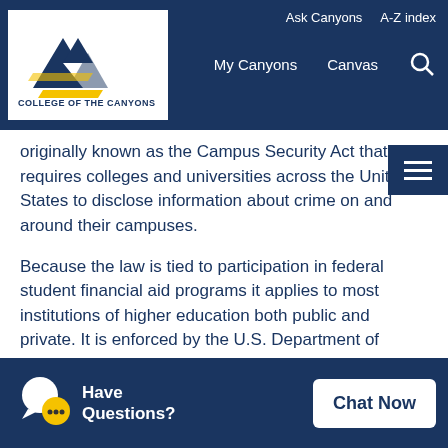College of the Canyons — Ask Canyons   A-Z index   My Canyons   Canvas
originally known as the Campus Security Act that requires colleges and universities across the United States to disclose information about crime on and around their campuses.
Because the law is tied to participation in federal student financial aid programs it applies to most institutions of higher education both public and private. It is enforced by the U.S. Department of Education.
The "Clery Act" is named in memory of 19 yea[r-old Lehigh University freshman] Jea[nne Clery who was] mu[rdered in her dormitory room in 1986.]